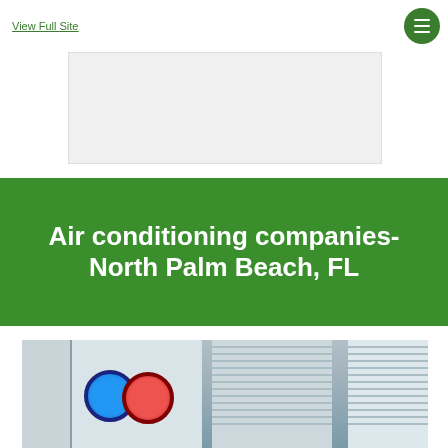View Full Site
[Figure (other): Advertisement banner placeholder (gray rectangle)]
Air conditioning companies- North Palm Beach, FL
[Figure (photo): Photo of an HVAC technician holding refrigerant gauges (blue and red manifold gauges) in front of a large commercial air conditioning unit]